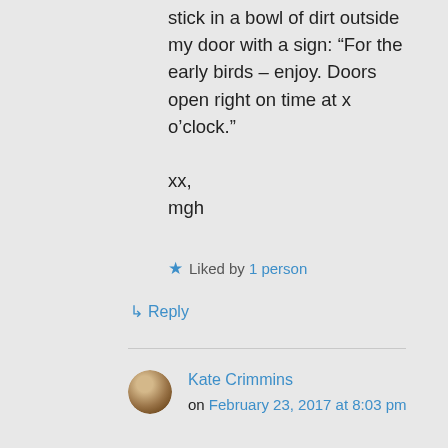stick in a bowl of dirt outside my door with a sign: “For the early birds – enjoy. Doors open right on time at x o’clock.”

xx,
mgh
★ Liked by 1 person
↵ Reply
Kate Crimmins on February 23, 2017 at 8:03 pm